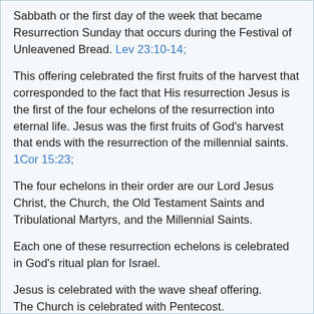Sabbath or the first day of the week that became Resurrection Sunday that occurs during the Festival of Unleavened Bread. Lev 23:10-14;
This offering celebrated the first fruits of the harvest that corresponded to the fact that His resurrection Jesus is the first of the four echelons of the resurrection into eternal life. Jesus was the first fruits of God's harvest that ends with the resurrection of the millennial saints. 1Cor 15:23;
The four echelons in their order are our Lord Jesus Christ, the Church, the Old Testament Saints and Tribulational Martyrs, and the Millennial Saints.
Each one of these resurrection echelons is celebrated in God's ritual plan for Israel.
Jesus is celebrated with the wave sheaf offering. The Church is celebrated with Pentecost.